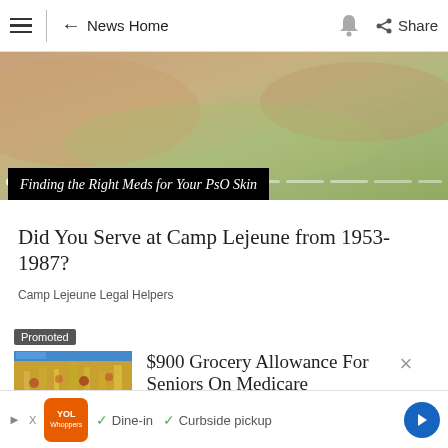News Home | Share
[Figure (photo): Close-up photo of hands with a green texture/leaf background, showing a media player interface with playback controls and progress dots. Caption overlay: 'Finding the Right Meds for Your PsO Skin']
Finding the Right Meds for Your PsO Skin
Did You Serve at Camp Lejeune from 1953- 1987?
Camp Lejeune Legal Helpers
Promoted
[Figure (photo): Crowd of shoppers in a grocery store with yellow/warm lighting]
$900 Grocery Allowance For Seniors On Medicare
[Figure (other): Bottom banner ad with orange logo (YOL/Whoppers), dine-in and curbside pickup text with green checkmarks, and a blue navigation arrow button]